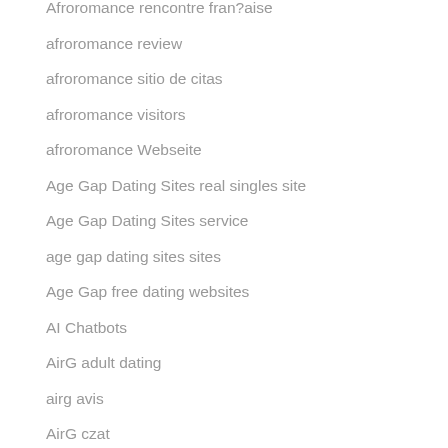Afroromance rencontre fran?aise
afroromance review
afroromance sitio de citas
afroromance visitors
afroromance Webseite
Age Gap Dating Sites real singles site
Age Gap Dating Sites service
age gap dating sites sites
Age Gap free dating websites
AI Chatbots
AirG adult dating
airg avis
AirG czat
Airg rencontre fran?aise
airg review